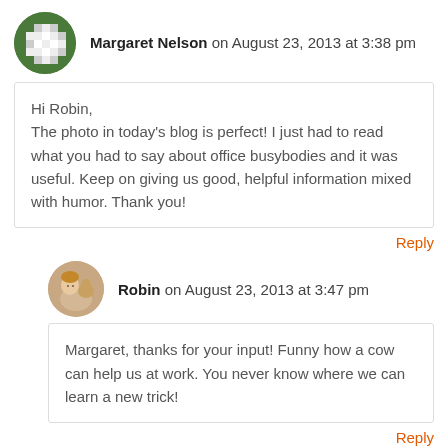Margaret Nelson on August 23, 2013 at 3:38 pm
Hi Robin,
The photo in today's blog is perfect! I just had to read what you had to say about office busybodies and it was useful. Keep on giving us good, helpful information mixed with humor. Thank you!
Reply
Robin on August 23, 2013 at 3:47 pm
Margaret, thanks for your input! Funny how a cow can help us at work. You never know where we can learn a new trick!
Reply